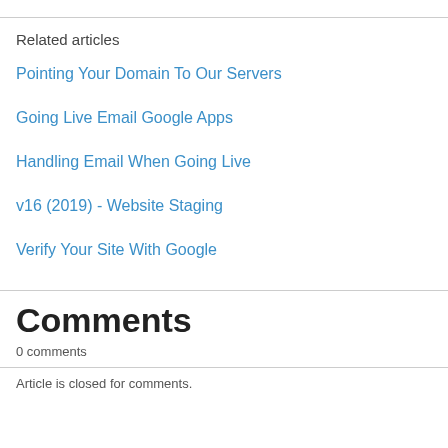Related articles
Pointing Your Domain To Our Servers
Going Live Email Google Apps
Handling Email When Going Live
v16 (2019) - Website Staging
Verify Your Site With Google
Comments
0 comments
Article is closed for comments.